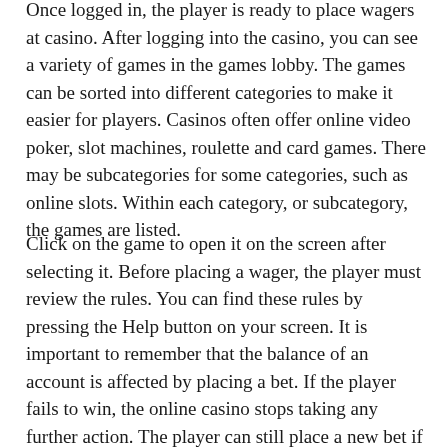Once logged in, the player is ready to place wagers at casino. After logging into the casino, you can see a variety of games in the games lobby. The games can be sorted into different categories to make it easier for players. Casinos often offer online video poker, slot machines, roulette and card games. There may be subcategories for some categories, such as online slots. Within each category, or subcategory, the games are listed.
Click on the game to open it on the screen after selecting it. Before placing a wager, the player must review the rules. You can find these rules by pressing the Help button on your screen. It is important to remember that the balance of an account is affected by placing a bet. If the player fails to win, the online casino stops taking any further action. The player can still place a new bet if he wishes. The player who wins will be credited with his winnings, including the amount wagered. The player with the back balance for the online casino...